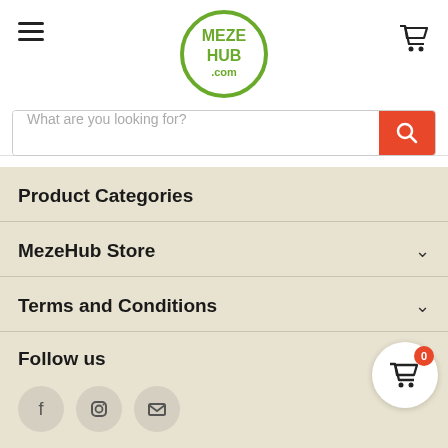[Figure (logo): MezeHub.com circular logo with green text on white background with green border]
[Figure (other): Search bar with placeholder 'What are you looking for?' and orange search button]
Product Categories
MezeHub Store
Terms and Conditions
Follow us
[Figure (other): Social media icons: Facebook, Instagram, Email]